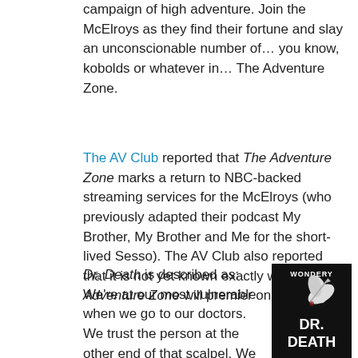campaign of high adventure. Join the McElroys as they find their fortune and slay an unconscionable number of… you know, kobolds or whatever in… The Adventure Zone.
The AV Club reported that The Adventure Zone marks a return to NBC-backed streaming services for the McElroys (who previously adapted their podcast My Brother, My Brother and Me for the short-lived Sesso). The AV Club also reported that it is not yet known exactly when The Adventure Zone will premier on Peacock.
Dr. Death is described as: We're at our most vulnerable when we go to our doctors. We trust the person at the other end of that scalpel. We must trust
[Figure (illustration): Dr. Death podcast cover art showing a gloved hand holding a scalpel against a dark background, with WONDERY at top and DR. DEATH in large bold white text at the bottom.]